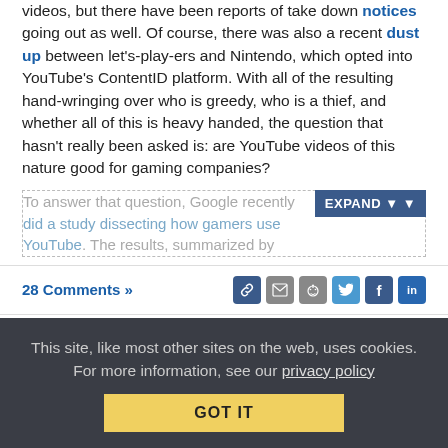videos, but there have been reports of take down notices going out as well. Of course, there was also a recent dust up between let's-play-ers and Nintendo, which opted into YouTube's ContentID platform. With all of the resulting hand-wringing over who is greedy, who is a thief, and whether all of this is heavy handed, the question that hasn't really been asked is: are YouTube videos of this nature good for gaming companies?
To answer that question, Google recently did a study dissecting how gamers use YouTube. The results, summarized by
28 Comments »
DailyDirt: Conducting Electricity In Unlikely Ways
This site, like most other sites on the web, uses cookies. For more information, see our privacy policy
GOT IT